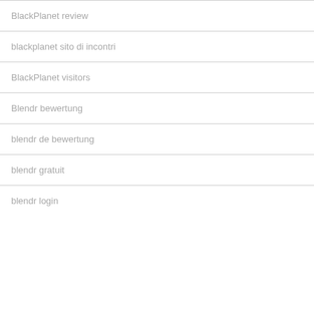BlackPlanet review
blackplanet sito di incontri
BlackPlanet visitors
Blendr bewertung
blendr de bewertung
blendr gratuit
blendr login